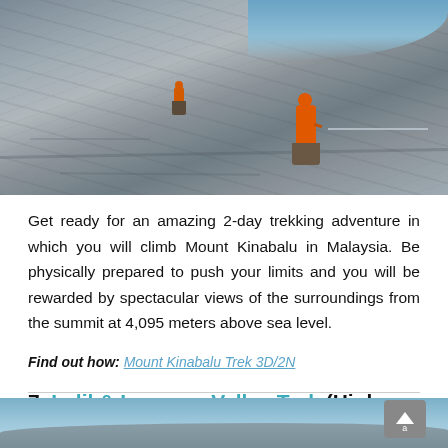[Figure (photo): Two trekkers in orange jackets walking on rocky mountain terrain, photographed from behind]
Get ready for an amazing 2-day trekking adventure in which you will climb Mount Kinabalu in Malaysia. Be physically prepared to push your limits and you will be rewarded by spectacular views of the surroundings from the summit at 4,095 meters above sea level.
Find out how: Mount Kinabalu Trek 3D/2N
7. Imlil & Imenane Valley Trek (High Atlas Mountains)
[Figure (photo): Mountain landscape photo (partially visible at bottom of page)]